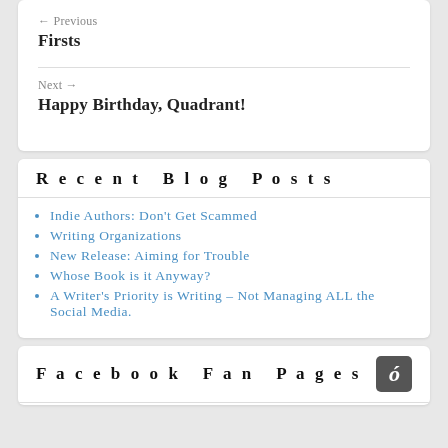← Previous
Firsts
Next →
Happy Birthday, Quadrant!
Recent Blog Posts
Indie Authors: Don't Get Scammed
Writing Organizations
New Release: Aiming for Trouble
Whose Book is it Anyway?
A Writer's Priority is Writing – Not Managing ALL the Social Media.
Facebook Fan Pages